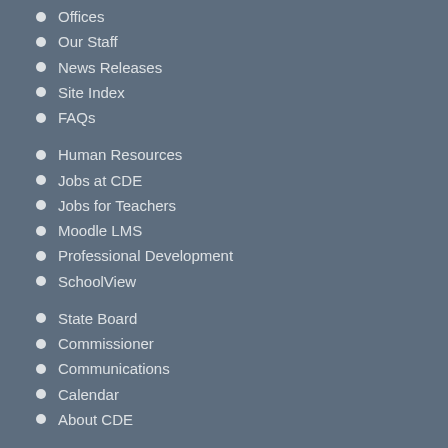Offices
Our Staff
News Releases
Site Index
FAQs
Human Resources
Jobs at CDE
Jobs for Teachers
Moodle LMS
Professional Development
SchoolView
State Board
Commissioner
Communications
Calendar
About CDE
CONTACT US
Colorado Dept. of Education
201 East Colfax Ave.
Denver, CO 80203